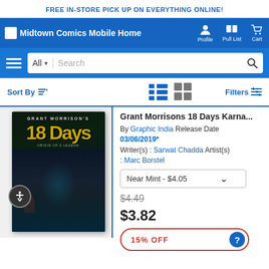FREE IN-STORE PICK UP ON EVERYTHING ONLINE!
Midtown Comics Mobile Home  Profile  Pull List  Cart
All [dropdown] Search [search button]
Sort By  [list view icons]  [grid view icons]  Filters
Grant Morrisons 18 Days Karna...
By Graphic India  Release Date 03/06/2019*
Writer(s) : Sarwat Chadda  Artist(s) : Marc Borstel
Near Mint - $4.05
$4.49
$3.82
15% OFF